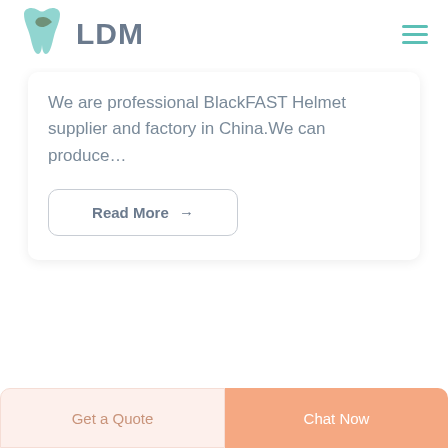[Figure (logo): LDM logo with teal tooth and leaf icon next to bold gray 'LDM' text, and hamburger menu icon on the right]
We are professional BlackFAST Helmet supplier and factory in China.We can produce…
Read More →
Get a Quote
Chat Now